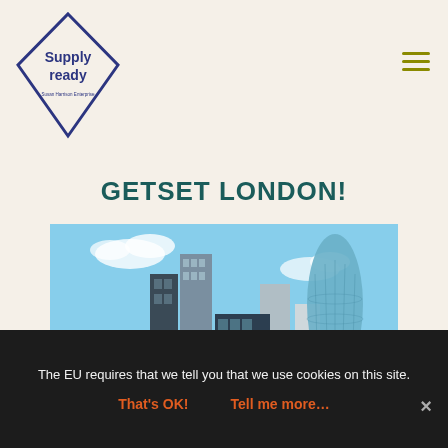[Figure (logo): Supply ready logo — diamond/rhombus outline shape with 'Supply ready' text and subtitle 'Susan Harrison Enterprise' inside]
GETSET LONDON!
[Figure (photo): London city skyline featuring the Gherkin (30 St Mary Axe) and other skyscrapers against a blue sky, viewed from the Thames]
The EU requires that we tell you that we use cookies on this site.
That's OK!   Tell me more…